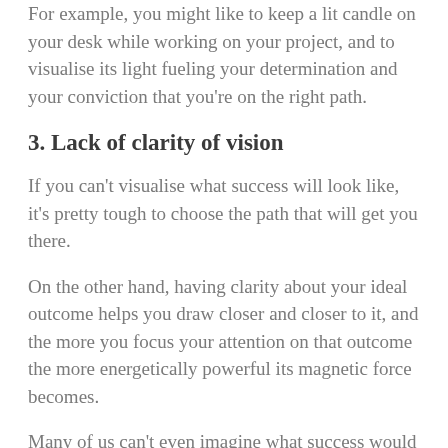For example, you might like to keep a lit candle on your desk while working on your project, and to visualise its light fueling your determination and your conviction that you're on the right path.
3. Lack of clarity of vision
If you can't visualise what success will look like, it's pretty tough to choose the path that will get you there.
On the other hand, having clarity about your ideal outcome helps you draw closer and closer to it, and the more you focus your attention on that outcome the more energetically powerful its magnetic force becomes.
Many of us can't even imagine what success would look and feel like, which can limit our perception of what's possible